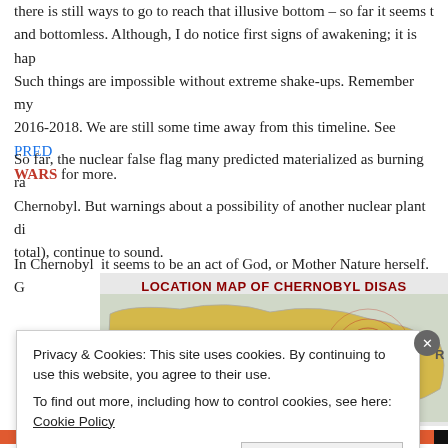there is still ways to go to reach that illusive bottom – so far it seems t and bottomless. Although, I do notice first signs of awakening; it is hap Such things are impossible without extreme shake-ups. Remember my 2016-2018. We are still some time away from this timeline. See PRED WARS for more.
So far, the nuclear false flag many predicted materialized as burning ra Chernobyl. But warnings about a possibility of another nuclear plant di total), continue to sound.
In Chernobyl  it seems to be an act of God, or Mother Nature herself. G
[Figure (map): Location map of Chernobyl disaster showing Belarus and surrounding region with concentric red circles indicating the disaster zone. Yellow landmass shows Belarus, with the letter R visible on the right edge.]
Privacy & Cookies: This site uses cookies. By continuing to use this website, you agree to their use.
To find out more, including how to control cookies, see here: Cookie Policy
Close and accept